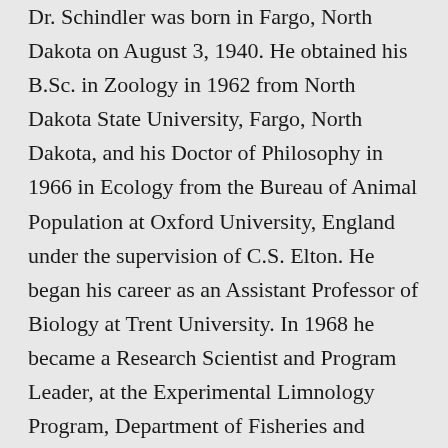Dr. Schindler was born in Fargo, North Dakota on August 3, 1940. He obtained his B.Sc. in Zoology in 1962 from North Dakota State University, Fargo, North Dakota, and his Doctor of Philosophy in 1966 in Ecology from the Bureau of Animal Population at Oxford University, England under the supervision of C.S. Elton. He began his career as an Assistant Professor of Biology at Trent University. In 1968 he became a Research Scientist and Program Leader, at the Experimental Limnology Program, Department of Fisheries and Oceans, Canada, Freshwater Institute where he remained until 1989 when he moved to his current position of Killam Memorial Chair and Professor of Ecology, Department of Biological Sciences, University of Alberta, Edmonton, Alberta.
Dr. Schindler is a Fellow of the Royal Society of Canada (1983), and the Royal Society of London (UK 2001). He